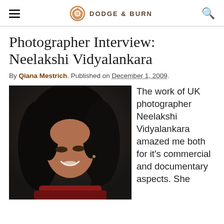DODGE & BURN
Photographer Interview: Neelakshi Vidyalankara
By Qiana Mestrich. Published on December 1, 2009.
[Figure (photo): Portrait photo of Neelakshi Vidyalankara, a woman with long dark curly hair, smiling, wearing a red outfit, photographed at an indoor event.]
The work of UK photographer Neelakshi Vidyalankara amazed me both for it's commercial and documentary aspects. She